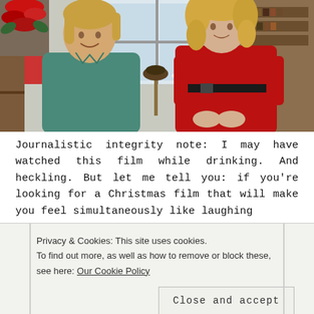[Figure (photo): A man in a teal/green long-sleeve shirt with blond hair sitting and smiling, next to a woman in a red dress with a black belt and blonde curly hair, in a room with bookshelves, a lamp, and a poinsettia plant. Christmas/winter setting.]
Journalistic integrity note: I may have watched this film while drinking. And heckling. But let me tell you: if you're looking for a Christmas film that will make you feel simultaneously like laughing
Privacy & Cookies: This site uses cookies. To find out more, as well as how to remove or block these, see here: Our Cookie Policy
Close and accept
vintage jeans (this section lives in her and body is like a contestant in the middle of NYC